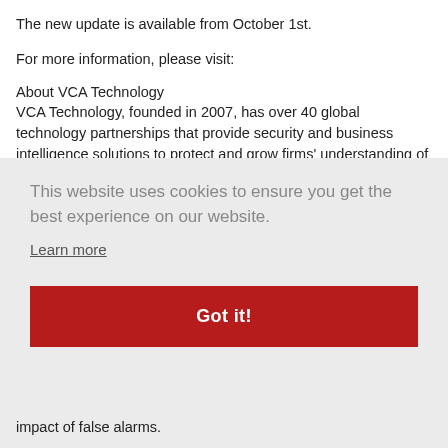The new update is available from October 1st.
For more information, please visit:
About VCA Technology
VCA Technology, founded in 2007, has over 40 global technology partnerships that provide security and business intelligence solutions to protect and grow firms' understanding of security threats facing their businesses.
Deployed worldwide in excess of 500,000 video.
This website uses cookies to ensure you get the best experience on our website.
Learn more
Got it!
impact of false alarms.